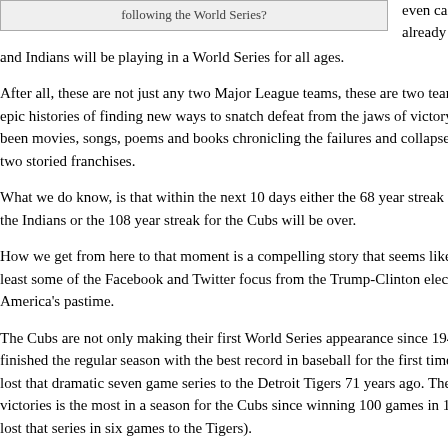[Figure (other): A box/callout element with text 'following the World Series?']
even casual sports fans are already aware that the Cubs and Indians will be playing in a World Series for all ages.
After all, these are not just any two Major League teams, these are two teams with epic histories of finding new ways to snatch defeat from the jaws of victory. There have been movies, songs, poems and books chronicling the failures and collapses of these two storied franchises.
What we do know, is that within the next 10 days either the 68 year streak of futility for the Indians or the 108 year streak for the Cubs will be over.
How we get from here to that moment is a compelling story that seems likely to divert at least some of the Facebook and Twitter focus from the Trump-Clinton election back to America's pastime.
The Cubs are not only making their first World Series appearance since 1945, they also finished the regular season with the best record in baseball for the first time since they lost that dramatic seven game series to the Detroit Tigers 71 years ago. Their 103 victories is the most in a season for the Cubs since winning 100 games in 1935 (they lost that series in six games to the Tigers).
Though the Indians have made three World Series appearances since last winning the championship in 1948, until the Cleveland Cavaliers won the NBA Championship earlier this year and the 52 year drought ended, Cleveland had one of the longest...